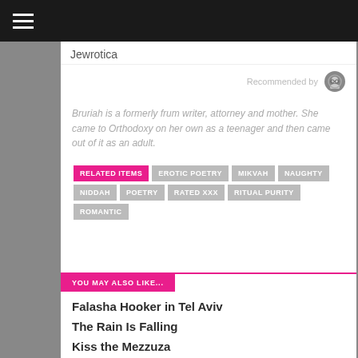Jewrotica
Recommended by
Bruriah is a formerly frum writer, attorney and mother. She came to Orthodoxy on her own as a teenager and then came out of it as an adult.
RELATED ITEMS
EROTIC POETRY
MIKVAH
NAUGHTY
NIDDAH
POETRY
RATED XXX
RITUAL PURITY
ROMANTIC
YOU MAY ALSO LIKE...
Falasha Hooker in Tel Aviv
The Rain Is Falling
Kiss the Mezzuza